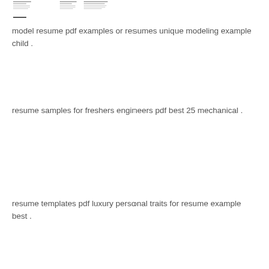[Figure (other): Thumbnail preview of a resume document with multiple columns of text lines and a label at the bottom left reading 'TA RESUME']
model resume pdf examples or resumes unique modeling example child .
resume samples for freshers engineers pdf best 25 mechanical .
resume templates pdf luxury personal traits for resume example best .